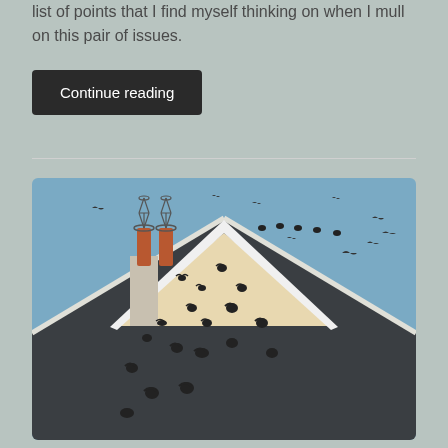list of points that I find myself thinking on when I mull on this pair of issues.
Continue reading
[Figure (photo): Photograph of a house rooftop with two ornate chimney stacks topped with decorative metal cages, a dark grey tiled roof, and a cream/beige triangular gable wall. Many swifts or swallows are swarming around the roof — perched along the ridge, clinging to the gable, and flying through the air against a blue sky.]